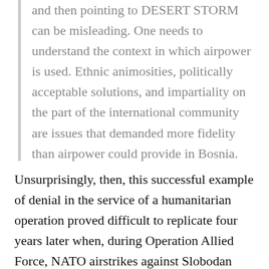and then pointing to DESERT STORM can be misleading. One needs to understand the context in which airpower is used. Ethnic animosities, politically acceptable solutions, and impartiality on the part of the international community are issues that demanded more fidelity than airpower could provide in Bosnia.
Unsurprisingly, then, this successful example of denial in the service of a humanitarian operation proved difficult to replicate four years later when, during Operation Allied Force, NATO airstrikes against Slobodan